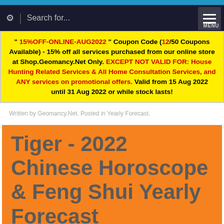Search for... MENU
" 15%OFF-ONLINE-AUG2022 " Coupon Code (12/50 Coupons Available) - 15% off all services purchased from our online store at Shop.Geomancy.Net Only. EXCEPT NOT VALID FOR: House Hunting Related Services & All Home Consultation Services, and ANY services on promotional offers. Valid from 15 Aug 2022 until 31 Aug 2022 or while stock lasts!
Written by Geomancy.Net. Posted in Yearly Forecast.
Tiger - 2022 Chinese Horoscope & Feng Shui Yearly Forecast